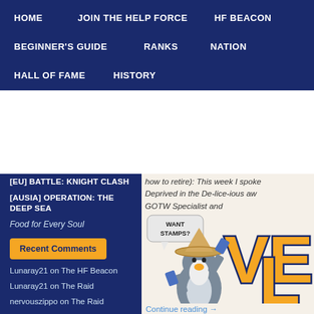HOME | JOIN THE HELP FORCE | HF BEACON | BEGINNER'S GUIDE | RANKS | NATION | HALL OF FAME | HISTORY
[EU] BATTLE: KNIGHT CLASH
[AUSIA] OPERATION: THE DEEP SEA
Food for Every Soul
Recent Comments
Lunaray21 on The HF Beacon
Lunaray21 on The Raid
nervouszippo on The Raid
how to retire): This week I spoke Deprived in the De-lice-ious aw GOTW Specialist and
[Figure (illustration): Cartoon penguin wearing a conical straw hat, holding blue cards/stamps, with a speech bubble saying 'WANT STAMPS?' Next to large partially visible text 'VE' and 'L'.]
Continue reading →